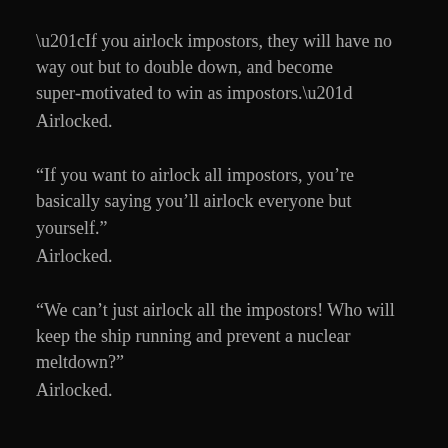“If you airlock impostors, they will have no way out but to double down, and become super-motivated to win as impostors.” Airlocked.
“If you want to airlock all impostors, you’re basically saying you’ll airlock everyone but yourself.” Airlocked.
“We can’t just airlock all the impostors! Who will keep the ship running and prevent a nuclear meltdown?” Airlocked.